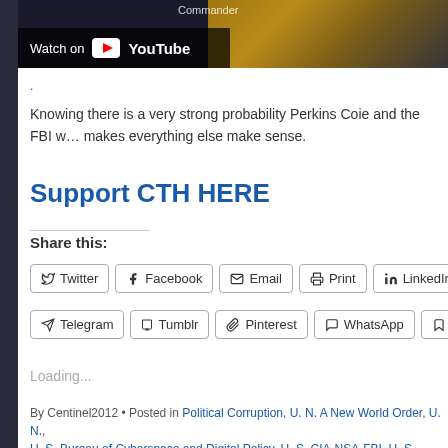[Figure (screenshot): YouTube video thumbnail with 'Watch on YouTube' overlay button, dark background with partial image of a person]
.
Knowing there is a very strong probability Perkins Coie and the FBI w… makes everything else make sense.
Support CTH HERE
Share this:
Twitter | Facebook | Email | Print | LinkedIn | Telegram | Tumblr | Pinterest | WhatsApp | Po...
Loading...
By Centinel2012 • Posted in Political Corruption, U. N. A New World Order, U. N., U. S. Bureau of Cyberspace and Digital Policy, U. S. CIA-NSA-FBI, U. S. Deep S… U. S. Ministry of Truth and democracy, U. S. Neocons, U. S. Oligarchs, U. S. The…